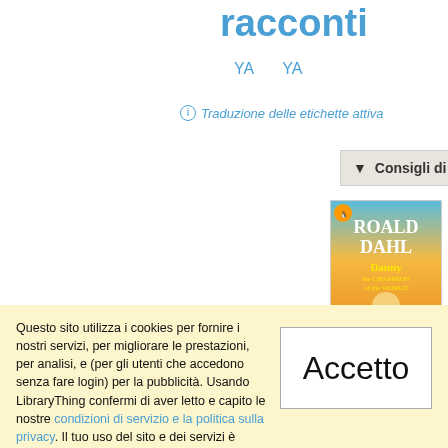racconti
Roald D
YA   YA
Traduzione delle etichette attiva
▼ Consigli di LibraryThing
[Figure (photo): Book covers: Roald Dahl 'Danny the Champion of the World' and 'The Umbrella Man']
Questo sito utilizza i cookies per fornire i nostri servizi, per migliorare le prestazioni, per analisi, e (per gli utenti che accedono senza fare login) per la pubblicità. Usando LibraryThing confermi di aver letto e capito le nostre condizioni di servizio e la politica sulla privacy. Il tuo uso del sito e dei servizi è soggetto a tali politiche e condizioni.